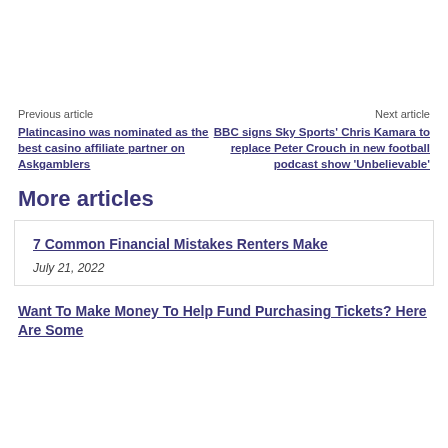Previous article
Next article
Platincasino was nominated as the best casino affiliate partner on Askgamblers
BBC signs Sky Sports' Chris Kamara to replace Peter Crouch in new football podcast show 'Unbelievable'
More articles
7 Common Financial Mistakes Renters Make
July 21, 2022
Want To Make Money To Help Fund Purchasing Tickets? Here Are Some